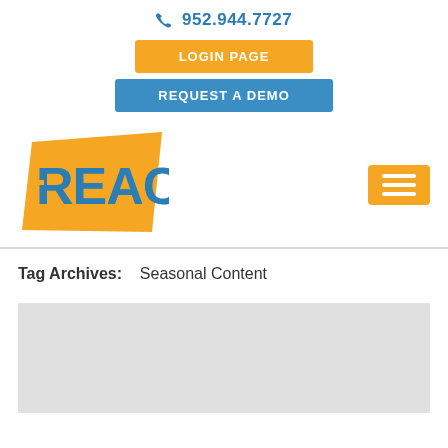📞 952.944.7727
[Figure (other): Orange LOGIN PAGE button]
[Figure (other): Blue REQUEST A DEMO button]
[Figure (logo): REACH logo — blue letters on orange parallelogram background with hamburger menu button]
Tag Archives:   Seasonal Content
[Figure (other): Light gray placeholder content box]